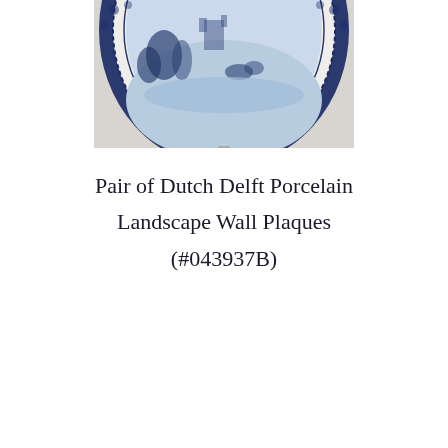[Figure (photo): Partial view of a Dutch Delft blue-and-white porcelain plate with landscape scene in the center and floral decorative border, photographed against a light grey background.]
Pair of Dutch Delft Porcelain Landscape Wall Plaques (#043937B)